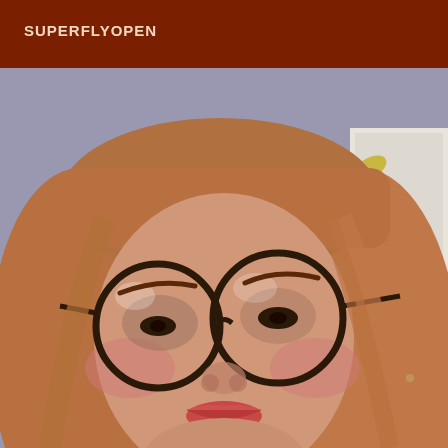SUPERFLYOPEN
[Figure (photo): Close-up selfie of a young woman with long reddish-blonde hair, wearing large round dark-framed glasses, smiling slightly. She has rosy cheeks and red lipstick, wearing a dark jacket over a light blue shirt. Background shows a wall with autumn leaf decorations and a white door.]